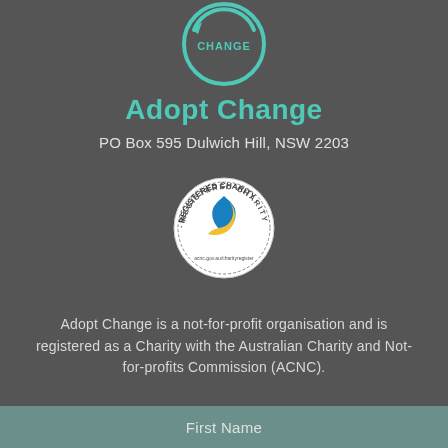[Figure (logo): Adopt Change circular logo with teal/green arrow and text 'CHANGE' visible at top]
Adopt Change
PO Box 595 Dulwich Hill, NSW 2203
[Figure (logo): ACNC Registered Charity seal/badge - circular badge with blue and yellow ribbon design and text 'REGISTERED CHARITY' around the edge]
Adopt Change is a not-for-profit organisation and is registered as a Charity with the Australian Charity and Not-for-profits Commission (ACNC).
GET UPDATES
First Name